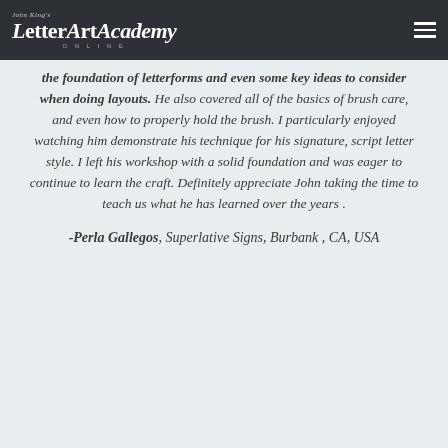John King's LetterArtAcademy ONLINE
the foundation of letterforms and even some key ideas to consider when doing layouts. He also covered all of the basics of brush care, and even how to properly hold the brush. I particularly enjoyed watching him demonstrate his technique for his signature, script letter style. I left his workshop with a solid foundation and was eager to continue to learn the craft. Definitely appreciate John taking the time to teach us what he has learned over the years .
-Perla Gallegos, Superlative Signs, Burbank , CA, USA